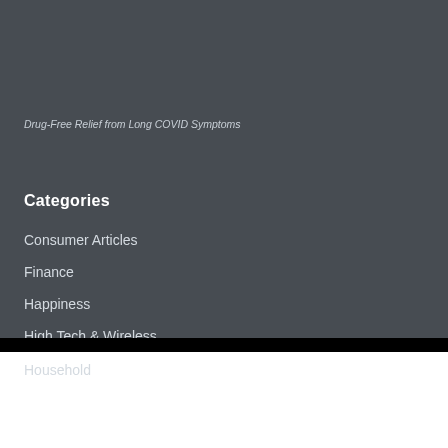Drug-Free Relief from Long COVID Symptoms
Categories
Consumer Articles
Finance
Happiness
High Tech & Wireless
Household